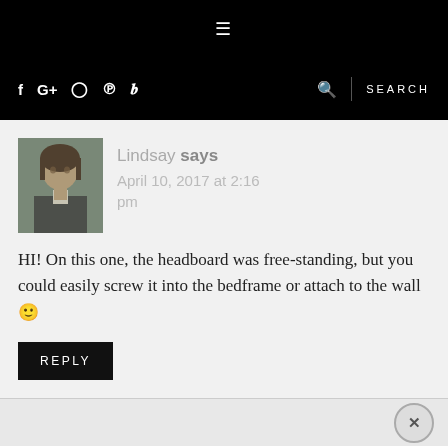≡
f G+ ⊙ P 𝕧 🔍 SEARCH
[Figure (photo): Avatar photo of Lindsay, a woman with dark hair]
Lindsay says
April 10, 2017 at 2:16 pm
HI! On this one, the headboard was free-standing, but you could easily screw it into the bedframe or attach to the wall 🙂
REPLY
×